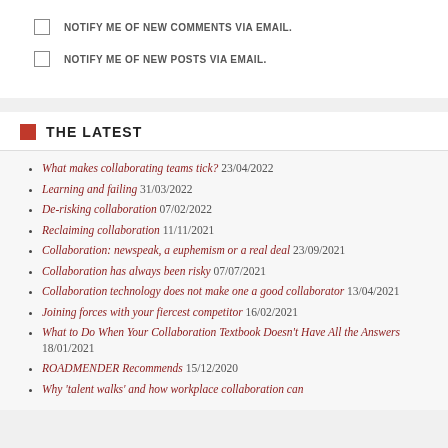NOTIFY ME OF NEW COMMENTS VIA EMAIL.
NOTIFY ME OF NEW POSTS VIA EMAIL.
THE LATEST
What makes collaborating teams tick? 23/04/2022
Learning and failing 31/03/2022
De-risking collaboration 07/02/2022
Reclaiming collaboration 11/11/2021
Collaboration: newspeak, a euphemism or a real deal 23/09/2021
Collaboration has always been risky 07/07/2021
Collaboration technology does not make one a good collaborator 13/04/2021
Joining forces with your fiercest competitor 16/02/2021
What to Do When Your Collaboration Textbook Doesn't Have All the Answers 18/01/2021
ROADMENDER Recommends 15/12/2020
Why 'talent walks' and how workplace collaboration can